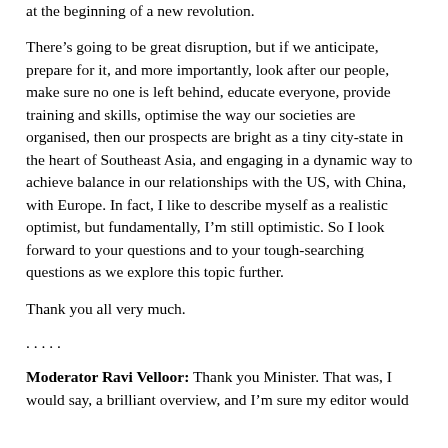at the beginning of a new revolution.
There’s going to be great disruption, but if we anticipate, prepare for it, and more importantly, look after our people, make sure no one is left behind, educate everyone, provide training and skills, optimise the way our societies are organised, then our prospects are bright as a tiny city-state in the heart of Southeast Asia, and engaging in a dynamic way to achieve balance in our relationships with the US, with China, with Europe. In fact, I like to describe myself as a realistic optimist, but fundamentally, I’m still optimistic. So I look forward to your questions and to your tough-searching questions as we explore this topic further.
Thank you all very much.
. . . . .
Moderator Ravi Velloor: Thank you Minister. That was, I would say, a brilliant overview, and I’m sure my editor would